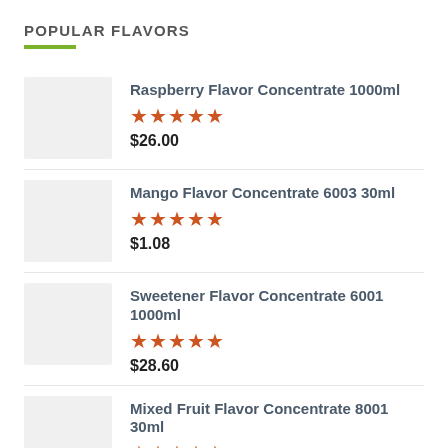POPULAR FLAVORS
Raspberry Flavor Concentrate 1000ml | ★★★★★ | $26.00
Mango Flavor Concentrate 6003 30ml | ★★★★★ | $1.08
Sweetener Flavor Concentrate 6001 1000ml | ★★★★★ | $28.60
Mixed Fruit Flavor Concentrate 8001 30ml | ★★★★★ | $1.08